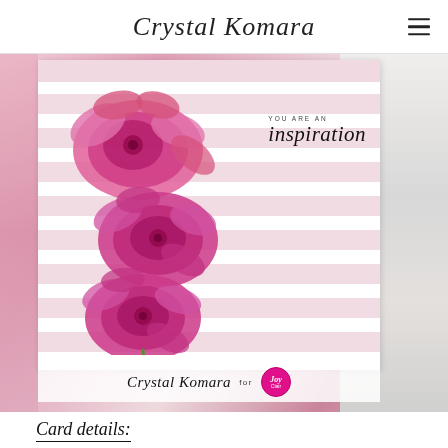Crystal Komara
[Figure (photo): A handmade greeting card featuring pink peony flowers stamped and colored in magenta/hot pink, arranged on a white card with pink watercolor horizontal stripes. The card reads 'YOU ARE AN inspiration' in the upper right. The card is photographed on a craft table with stamping supplies, metal dies, and patterned paper visible. At the bottom of the image a watermark reads 'Crystal Komara for Joy Clair' with a pink circular logo.]
Card details: